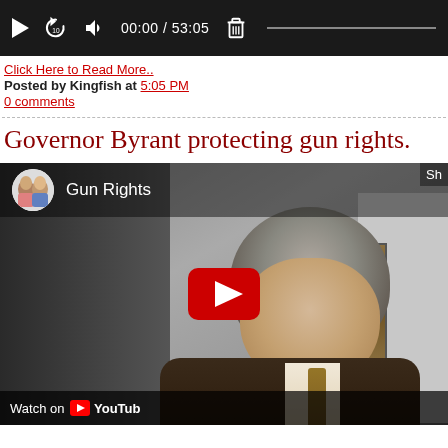[Figure (screenshot): Video player control bar with play button, replay 10s, volume, time display 00:00 / 53:05, delete icon and progress bar]
Click Here to Read More..
Posted by Kingfish at 5:05 PM
0 comments
Governor Byrant protecting gun rights.
[Figure (screenshot): YouTube embedded video showing a man in a dark suit speaking, with YouTube play button overlay and channel name 'Gun Rights' with profile avatar image]